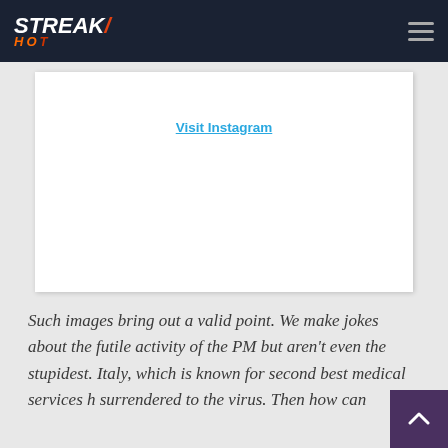StreakHot
[Figure (screenshot): Embedded Instagram post placeholder with Visit Instagram link]
Such images bring out a valid point. We make jokes about the futile activity of the PM but aren't even the stupidest. Italy, which is known for second best medical services h surrendered to the virus. Then how can